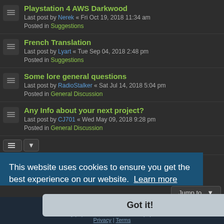Playstation 4 AWS Darkwood — Last post by Nerek « Fri Oct 19, 2018 11:34 am — Posted in Suggestions
French Translation — Last post by Lyart « Tue Sep 04, 2018 2:48 pm — Posted in Suggestions
Some lore general questions — Last post by RadioStalker « Sat Jul 14, 2018 5:04 pm — Posted in General Discussion
Any Info about your next project? — Last post by CJ701 « Wed May 09, 2018 9:28 pm — Posted in General Discussion
Search found 179 matches  1 2 3 4 5 ... 8
Jump to
This website uses cookies to ensure you get the best experience on our website. Learn more
Got it!
Board index   Contact us   Delete cookies   All times are UTC
Lucid Lime style created by Melvin Garcia
Co-Author: MarmixMD
Powered by phpBB® Forum Software © phpBB Limited
Privacy | Terms